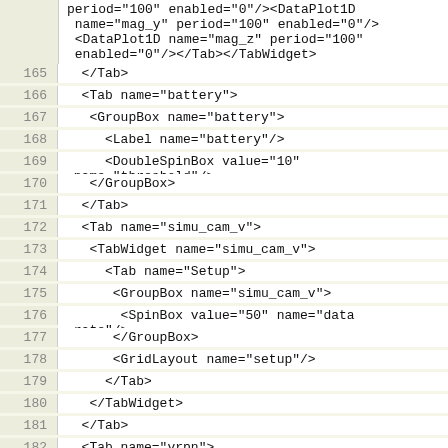period="100" enabled="0"/><DataPlot1D name="mag_y" period="100" enabled="0"/>
<DataPlot1D name="mag_z" period="100" enabled="0"/></Tab></TabWidget>
165   </Tab>
166   <Tab name="battery">
167    <GroupBox name="battery">
168      <Label name="battery"/>
169      <DoubleSpinBox value="10" name="threshold"/>
170    </GroupBox>
171   </Tab>
172   <Tab name="simu_cam_v">
173    <TabWidget name="simu_cam_v">
174      <Tab name="Setup">
175        <GroupBox name="simu_cam_v">
176        <SpinBox value="50" name="data rate"/>
177        </GroupBox>
178        <GridLayout name="setup"/>
179      </Tab>
180    </TabWidget>
181   </Tab>
182   <Tab name="vrpn">